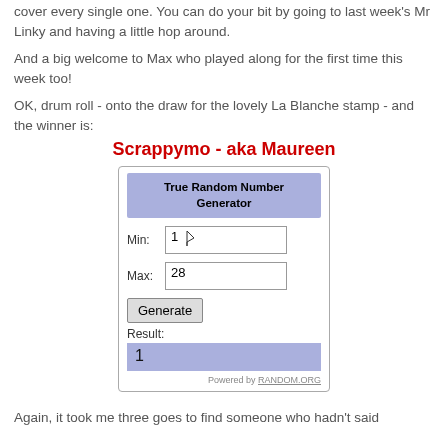cover every single one. You can do your bit by going to last week's Mr Linky and having a little hop around.
And a big welcome to Max who played along for the first time this week too!
OK, drum roll - onto the draw for the lovely La Blanche stamp - and the winner is:
Scrappymo - aka Maureen
[Figure (screenshot): True Random Number Generator widget showing Min: 1, Max: 28, with a Generate button and Result: 1, powered by RANDOM.ORG]
Again, it took me three goes to find someone who hadn't said